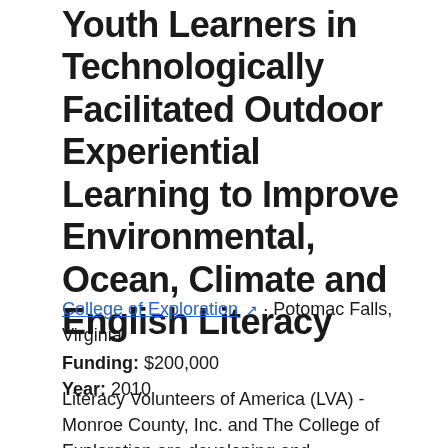Youth Learners in Technologically Facilitated Outdoor Experiential Learning to Improve Environmental, Ocean, Climate and English Literacy
College of Exploration · Potomac Falls, Virginia
Funding: $200,000
Year: 2010
Literacy Volunteers of America (LVA) - Monroe County, Inc. and The College of Exploration are developing and implementing a pilot project to target traditionally